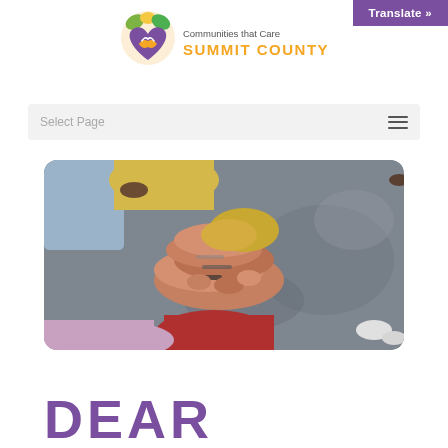Translate »
[Figure (logo): Communities that Care Summit County logo with a heart made of hands, sun and leaves, with text 'Communities that Care' in gray and 'SUMMIT COUNTY' in orange]
Select Page  ☰
[Figure (photo): Overhead view of multiple people stacking their hands together in a team gesture, wearing colorful clothing]
DEAR